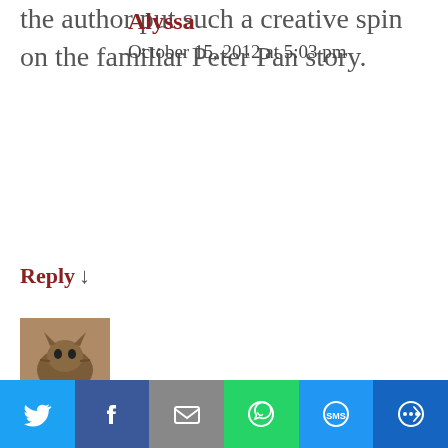the author put such a creative spin on the familiar Peter Pan story.
Reply ↓
[Figure (photo): Avatar photo of a cat]
Alyssa
October 15, 2012 at 5:03 pm
YES!!! I ADORED this book!! It is definitely the contendor for my number one read of 2012 so far (Days of Blood and Starlight is
[Figure (infographic): Social share bar with Twitter, Facebook, Email, WhatsApp, SMS, and More buttons]